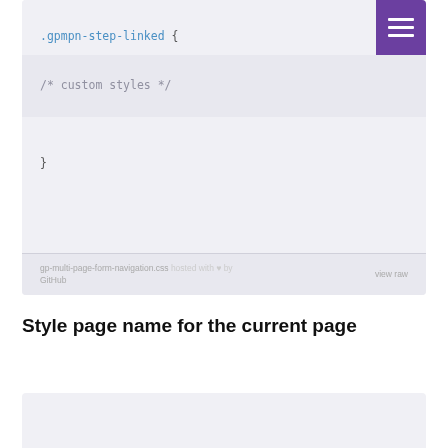[Figure (screenshot): Code block showing CSS selector .gpmpn-step-linked { with comment /* custom styles */ and closing brace }, with a purple hamburger menu button in the top right corner and a GitHub hosted footer bar]
gp-multi-page-form-navigation.css hosted with ♥ by GitHub    view raw
Style page name for the current page
[Figure (screenshot): Bottom portion of another code block, partially visible]